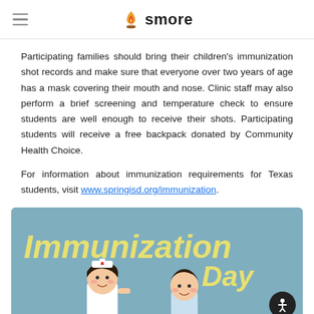smore
Participating families should bring their children's immunization shot records and make sure that everyone over two years of age has a mask covering their mouth and nose. Clinic staff may also perform a brief screening and temperature check to ensure students are well enough to receive their shots. Participating students will receive a free backpack donated by Community Health Choice.
For information about immunization requirements for Texas students, visit www.springisd.org/immunization.
[Figure (illustration): Immunization Day illustration showing a nurse and a child with text 'Immunization Day' on a blue background]